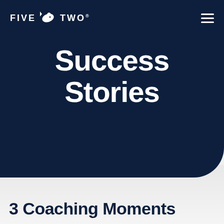[Figure (logo): Five Two logo with fish icon and text FIVE TWO on dark navy background]
Success Stories
3 Coaching Moments